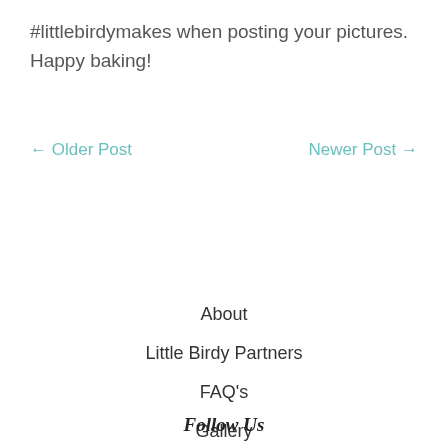#littlebirdymakes when posting your pictures. Happy baking!
← Older Post    Newer Post →
About
Little Birdy Partners
FAQ's
Gallery
Follow Us